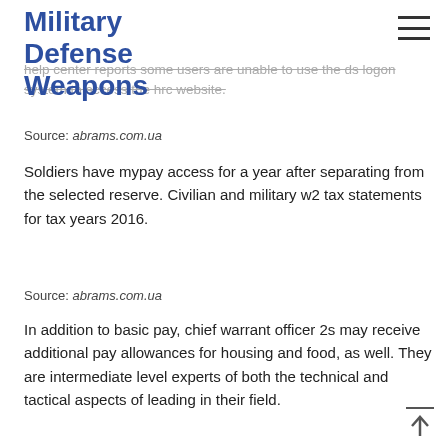Military Defense Weapons
...help center reports some users are unable to use the ds logon system to access the hrc website.
Source: abrams.com.ua
Soldiers have mypay access for a year after separating from the selected reserve. Civilian and military w2 tax statements for tax years 2016.
Source: abrams.com.ua
In addition to basic pay, chief warrant officer 2s may receive additional pay allowances for housing and food, as well. They are intermediate level experts of both the technical and tactical aspects of leading in their field.